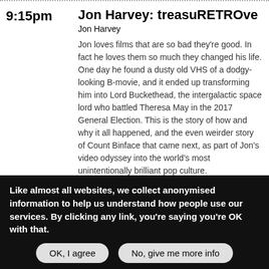9:15pm
Jon Harvey: treasuRETROve
Jon Harvey
Jon loves films that are so bad they're good. In fact he loves them so much they changed his life. One day he found a dusty old VHS of a dodgy-looking B-movie, and it ended up transforming him into Lord Buckethead, the intergalactic space lord who battled Theresa May in the 2017 General Election. This is the story of how and why it all happened, and the even weirder story of Count Binface that came next, as part of Jon's video odyssey into the world's most unintentionally brilliant pop culture.
Comedy    Network Theatre - Lower Road
Info & Tickets
9:15pm
Be More Bee
Lightning Bugs
Like almost all websites, we collect anonymised information to help us understand how people use our services. By clicking any link, you're saying you're OK with that.
OK, I agree
No, give me more info